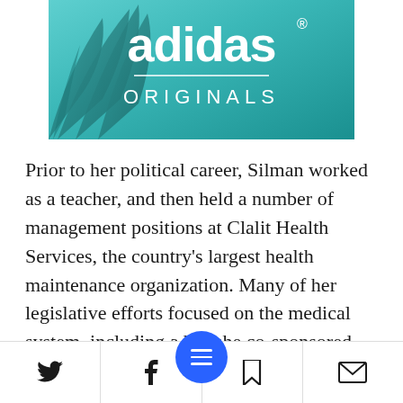[Figure (logo): Adidas Originals advertisement banner with teal/cyan background, palm leaf silhouette, white 'adidas' text with registered trademark symbol, horizontal white line, and 'ORIGINALS' text below in spaced letters.]
Prior to her political career, Silman worked as a teacher, and then held a number of management positions at Clalit Health Services, the country's largest health maintenance organization. Many of her legislative efforts focused on the medical system, including a bill she co-sponsored regarding the freezing of sperm of Israeli
[Figure (infographic): Bottom navigation bar with Twitter bird icon, Facebook f icon, center blue circular button with hamburger menu lines, bookmark icon, and mail/envelope icon. A horizontal divider line separates the bar from the content above.]